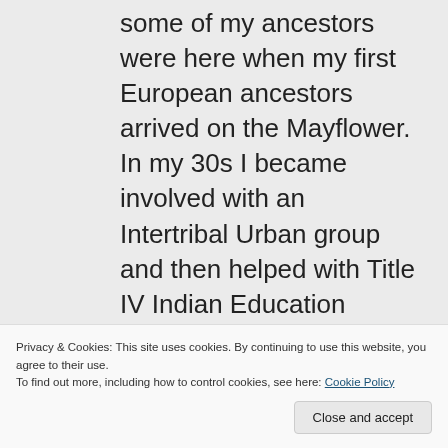some of my ancestors were here when my first European ancestors arrived on the Mayflower. In my 30s I became involved with an Intertribal Urban group and then helped with Title IV Indian Education through the local schools. Over the years I have taught beadwork, leathercraft, traditional foods, medicinal herbs, etc. Eventually, as a nurse, I worked as a Public Health Nurse on a large
Privacy & Cookies: This site uses cookies. By continuing to use this website, you agree to their use. To find out more, including how to control cookies, see here: Cookie Policy
other ethnic markers. I may be thin-